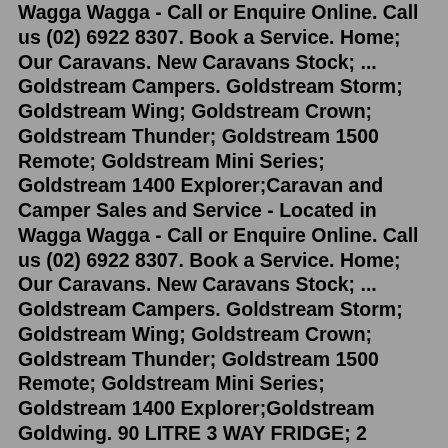Wagga Wagga - Call or Enquire Online. Call us (02) 6922 8307. Book a Service. Home; Our Caravans. New Caravans Stock; ... Goldstream Campers. Goldstream Storm; Goldstream Wing; Goldstream Crown; Goldstream Thunder; Goldstream 1500 Remote; Goldstream Mini Series; Goldstream 1400 Explorer;Caravan and Camper Sales and Service - Located in Wagga Wagga - Call or Enquire Online. Call us (02) 6922 8307. Book a Service. Home; Our Caravans. New Caravans Stock; ... Goldstream Campers. Goldstream Storm; Goldstream Wing; Goldstream Crown; Goldstream Thunder; Goldstream 1500 Remote; Goldstream Mini Series; Goldstream 1400 Explorer;Goldstream Goldwing. 90 LITRE 3 WAY FRIDGE; 2 BURNER COOKTOP & GRILL; MICROWAVE; LARGE ROBE; SIX BERTH; MAINS TAP; ANNEXE; SIDE STORAGE ACCESS; POLE CARRIER . Noel's Caravans has Over 130 Quality New & Used Caravan's in Stock. Visit Us at 561 Salisbury Highway, Green Fields just